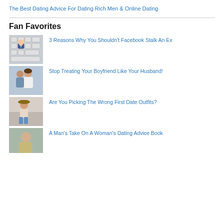The Best Dating Advice For Dating Rich Men & Online Dating
Fan Favorites
[Figure (photo): Hand pressing a blue Facebook key on a keyboard]
3 Reasons Why You Shouldn't Facebook Stalk An Ex
[Figure (photo): Woman sitting with man behind her, relationship photo]
Stop Treating Your Boyfriend Like Your Husband!
[Figure (photo): Young woman sitting outdoors wearing a hat]
Are You Picking The Wrong First Date Outfits?
[Figure (photo): Partial view of a woman, fourth item image]
A Man's Take On A Woman's Dating Advice Book